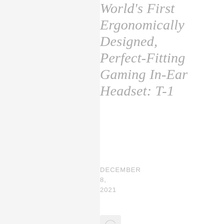World's First Ergonomically Designed, Perfect-Fitting Gaming In-Ear Headset: T-1
DECEMBER 8, 2021
[Figure (illustration): Small icon/thumbnail image placeholder with a checkmark or bookmark icon]
Breezing Air Between Your Clothes: Cooly
DECEMBER 2,